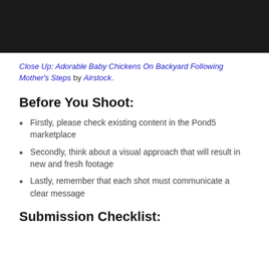[Figure (photo): Dark/black background area at top of page, partial image of baby chickens on backyard (mostly cropped out, showing only dark portion)]
Close Up: Adorable Baby Chickens On Backyard Following Mother's Steps by Airstock.
Before You Shoot:
Firstly, please check existing content in the Pond5 marketplace
Secondly, think about a visual approach that will result in new and fresh footage
Lastly, remember that each shot must communicate a clear message
Submission Checklist: